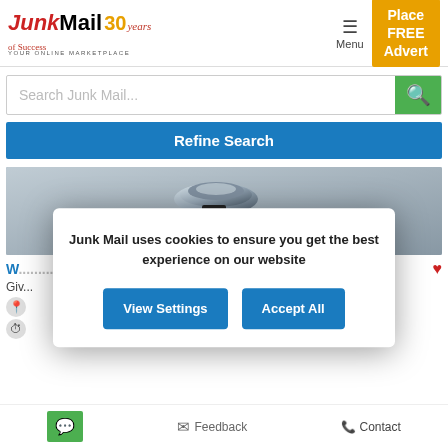[Figure (logo): Junk Mail 30 years logo - YOUR ONLINE MARKETPLACE]
[Figure (screenshot): Search bar with 'Search Junk Mail...' placeholder and green search button]
Refine Search
[Figure (photo): Close-up photo of a chrome water faucet/tap]
W... (partial heading in blue)
Junk Mail uses cookies to ensure you get the best experience on our website
View Settings
Accept All
Feedback  Contact